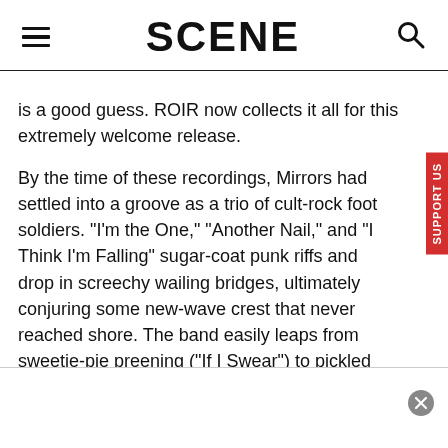SCENE
is a good guess. ROIR now collects it all for this extremely welcome release.
By the time of these recordings, Mirrors had settled into a groove as a trio of cult-rock foot soldiers. "I'm the One," "Another Nail," and "I Think I'm Falling" sugar-coat punk riffs and drop in screechy wailing bridges, ultimately conjuring some new-wave crest that never reached shore. The band easily leaps from sweetie-pie preening ("If I Swear") to pickled punch ("I Got a Need"). Later sounds ("Halt Amphigory," "And I Saw You") veer into nerd jangle, using Byrds licks in a manner that such later lo-fiers as